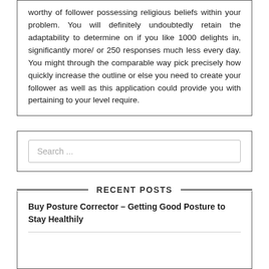worthy of follower possessing religious beliefs within your problem. You will definitely undoubtedly retain the adaptability to determine on if you like 1000 delights in, significantly more/ or 250 responses much less every day. You might through the comparable way pick precisely how quickly increase the outline or else you need to create your follower as well as this application could provide you with pertaining to your level require.
[Figure (other): Search input field with placeholder text 'Search ...']
RECENT POSTS
Buy Posture Corrector – Getting Good Posture to Stay Healthily